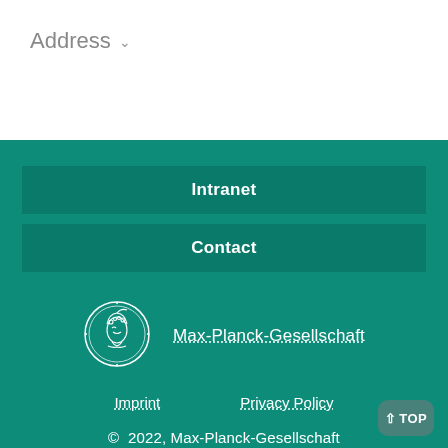Address
Intranet
Contact
[Figure (logo): Max-Planck-Gesellschaft circular coin logo with Minerva head profile in white outline on teal background]
Max-Planck-Gesellschaft
Imprint
Privacy Policy
© 2022, Max-Planck-Gesellschaft